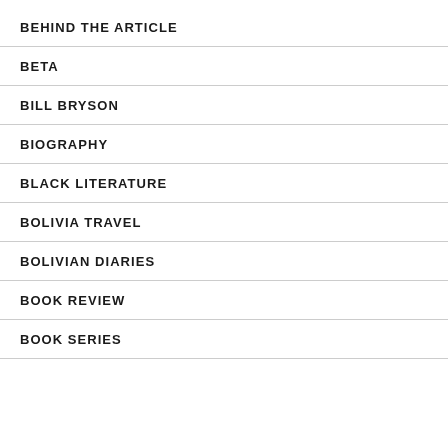BEHIND THE ARTICLE
BETA
BILL BRYSON
BIOGRAPHY
BLACK LITERATURE
BOLIVIA TRAVEL
BOLIVIAN DIARIES
BOOK REVIEW
BOOK SERIES